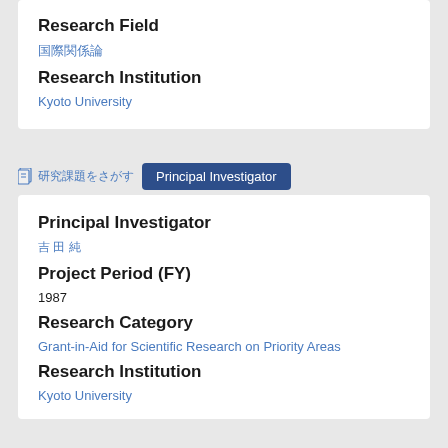Research Field
国際関係論
Research Institution
Kyoto University
研究課題をさがす　Principal Investigator
Principal Investigator
吉 田 純
Project Period (FY)
1987
Research Category
Grant-in-Aid for Scientific Research on Priority Areas
Research Institution
Kyoto University